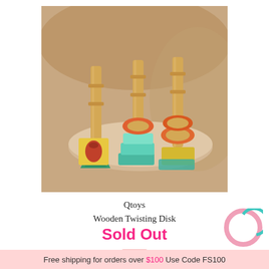[Figure (photo): Photo of a Qtoys Wooden Twisting Disk toy with colorful wooden shapes (green triangle, orange rings, teal squares) on wooden pegs on a round wooden base]
Qtoys
Wooden Twisting Disk
Sold Out
[Figure (logo): Circular logo with pink and teal/cyan outlines forming a Q shape]
Free shipping for orders over $100 Use Code FS100